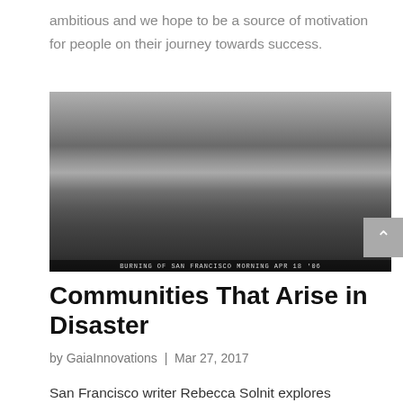ambitious and we hope to be a source of motivation for people on their journey towards success.
[Figure (photo): Black and white historical photograph of the Burning of San Francisco, Morning April 18, 1906. People are gathered in the foreground while large smoke clouds rise behind buildings in the background.]
Communities That Arise in Disaster
by GaiaInnovations | Mar 27, 2017
San Francisco writer Rebecca Solnit explores